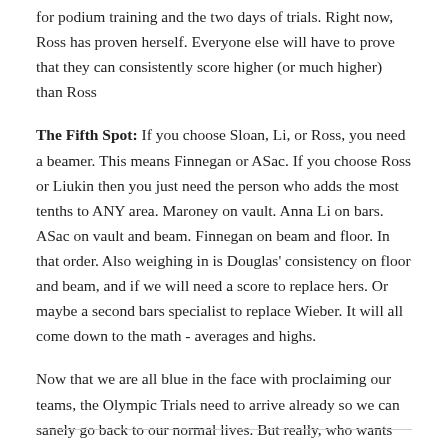for podium training and the two days of trials. Right now, Ross has proven herself. Everyone else will have to prove that they can consistently score higher (or much higher) than Ross
The Fifth Spot: If you choose Sloan, Li, or Ross, you need a beamer. This means Finnegan or ASac. If you choose Ross or Liukin then you just need the person who adds the most tenths to ANY area. Maroney on vault. Anna Li on bars. ASac on vault and beam. Finnegan on beam and floor. In that order. Also weighing in is Douglas' consistency on floor and beam, and if we will need a score to replace hers. Or maybe a second bars specialist to replace Wieber. It will all come down to the math - averages and highs.
Now that we are all blue in the face with proclaiming our teams, the Olympic Trials need to arrive already so we can sanely go back to our normal lives. But really, who wants to?